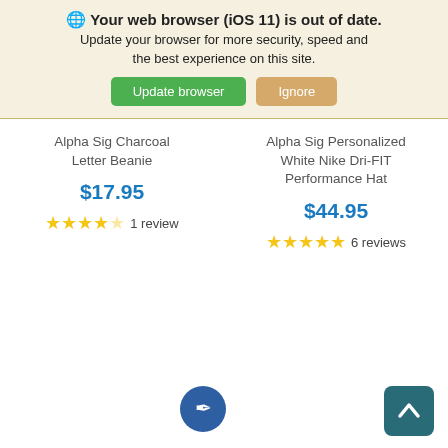Your web browser (iOS 11) is out of date. Update your browser for more security, speed and the best experience on this site.
[Figure (screenshot): Two buttons: 'Update browser' (green) and 'Ignore' (tan/gold)]
Alpha Sig Charcoal Letter Beanie
$17.95
★★★★☆ 1 review
Alpha Sig Personalized White Nike Dri-FIT Performance Hat
$44.95
★★★★★ 6 reviews
[Figure (other): Circular blue icon with feather/pen symbol and square teal back-to-top arrow button]